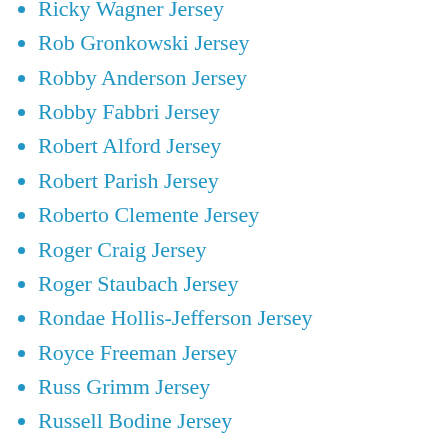Ricky Wagner Jersey
Rob Gronkowski Jersey
Robby Anderson Jersey
Robby Fabbri Jersey
Robert Alford Jersey
Robert Parish Jersey
Roberto Clemente Jersey
Roger Craig Jersey
Roger Staubach Jersey
Rondae Hollis-Jefferson Jersey
Royce Freeman Jersey
Russ Grimm Jersey
Russell Bodine Jersey
Ryan Allen Jersey
Ryan Callahan Jersey
Ryan Glasgow Jersey
Ryan Jensen Jersey